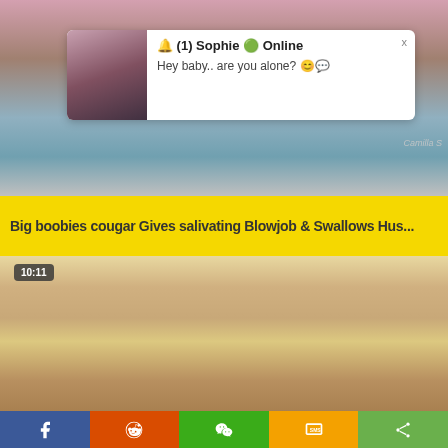[Figure (screenshot): Video thumbnail showing adult content - top video block with blurred/colored background]
🔔 (1) Sophie 🟢 Online
Hey baby.. are you alone? 😊💬
Big boobies cougar Gives salivating Blowjob & Swallows Hus...
[Figure (screenshot): Second video thumbnail, 10:11 duration, adult content]
f  reddit  WeChat  SMS  share